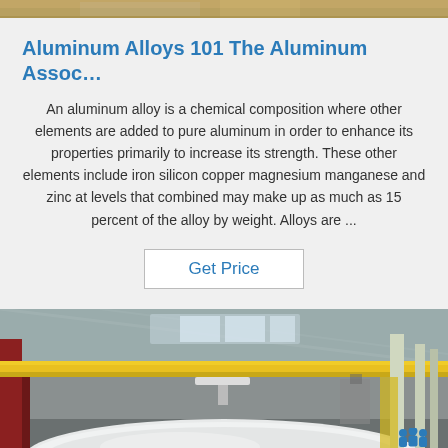[Figure (photo): Top image strip showing partial photo of industrial/factory setting]
Aluminum Alloys 101 The Aluminum Assoc…
An aluminum alloy is a chemical composition where other elements are added to pure aluminum in order to enhance its properties primarily to increase its strength. These other elements include iron silicon copper magnesium manganese and zinc at levels that combined may make up as much as 15 percent of the alloy by weight. Alloys are ...
Get Price
[Figure (photo): Factory interior showing large aluminum roll/coil being handled by overhead crane with yellow gantry structure. TOP logo visible in bottom right corner.]